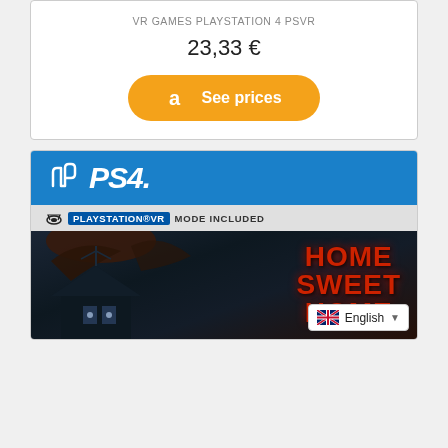VR GAMES PLAYSTATION 4 PSVR
23,33 €
[Figure (other): Amazon 'See prices' button with orange rounded rectangle and Amazon logo]
[Figure (photo): PS4 game box art for 'Home Sweet Home' with PlayStation VR Mode Included label, dark horror imagery with red game title text, house silhouette, and monster figure]
English